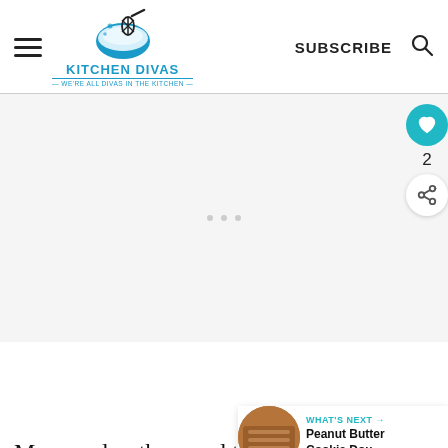Kitchen Divas — WE'RE ALL DIVAS IN THE KITCHEN — SUBSCRIBE [search]
[Figure (other): Large blank/gray advertisement placeholder area with three small gray dots in the center]
My grandmother used to whip this yummy treat up in no time at all. OK,
[Figure (other): What's Next banner: thumbnail image of Peanut Butter Cookie Dough, label 'WHAT'S NEXT →', title 'Peanut Butter Cookie Dou...']